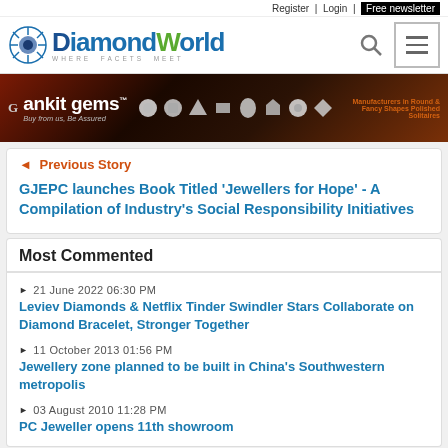Register | Login | Free newsletter
[Figure (logo): DiamondWorld logo with starburst gem icon and tagline WHERE FACETS MEET]
[Figure (photo): Ankit Gems advertisement banner with gem shapes and text: ankit gems, Buy from us, Be Assured, Manufacturers in Round & Fancy Shapes Polished Solitaires]
Previous Story
GJEPC launches Book Titled 'Jewellers for Hope' - A Compilation of Industry's Social Responsibility Initiatives
Most Commented
21 June 2022 06:30 PM
Leviev Diamonds & Netflix Tinder Swindler Stars Collaborate on Diamond Bracelet, Stronger Together
11 October 2013 01:56 PM
Jewellery zone planned to be built in China's Southwestern metropolis
03 August 2010 11:28 PM
PC Jeweller opens 11th showroom